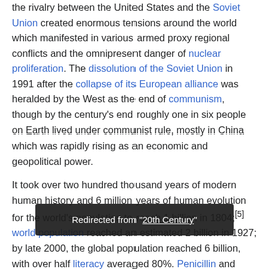the rivalry between the United States and the Soviet Union created enormous tensions around the world which manifested in various armed proxy regional conflicts and the omnipresent danger of nuclear proliferation. The dissolution of the Soviet Union in 1991 after the collapse of its European alliance was heralded by the West as the end of communism, though by the century's end roughly one in six people on Earth lived under communist rule, mostly in China which was rapidly rising as an economic and geopolitical power.

It took over two hundred thousand years of modern human history and 6 million years of human evolution for the world's population to reach 1 billion in 1804;[5] world population reached an estimated 2 billion in 1927; by late 2000, the global population reached 6 billion, with over half ... literacy averaged 80%. Penicillin and other medical
Redirected from "20th Century"